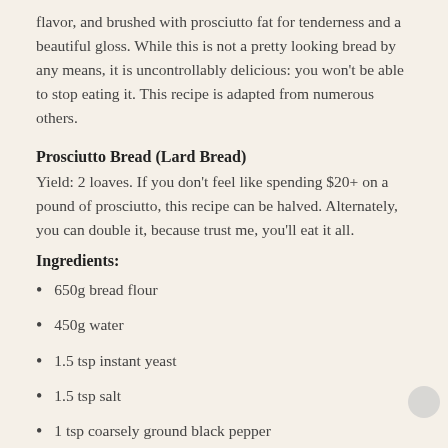flavor, and brushed with prosciutto fat for tenderness and a beautiful gloss. While this is not a pretty looking bread by any means, it is uncontrollably delicious: you won't be able to stop eating it. This recipe is adapted from numerous others.
Prosciutto Bread (Lard Bread)
Yield: 2 loaves. If you don't feel like spending $20+ on a pound of prosciutto, this recipe can be halved. Alternately, you can double it, because trust me, you'll eat it all.
Ingredients:
650g bread flour
450g water
1.5 tsp instant yeast
1.5 tsp salt
1 tsp coarsely ground black pepper
16 oz. / 500g Prosciutto, 1/8″ thick, cut into 1/4-inch dice. Before dicing, slice off and save the largest pieces of fat (see